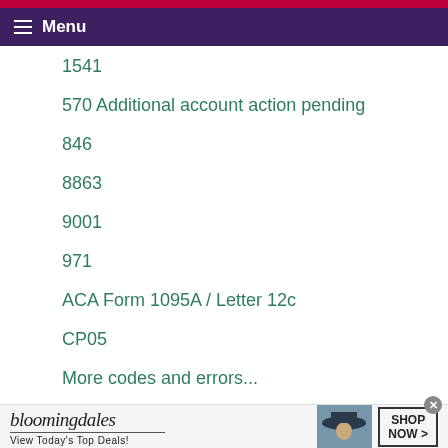Menu
1541
570 Additional account action pending
846
8863
9001
971
ACA Form 1095A / Letter 12c
CP05
More codes and errors...
[Figure (screenshot): Bloomingdale's advertisement banner: logo, 'View Today's Top Deals!', woman with hat, and 'SHOP NOW >' button]